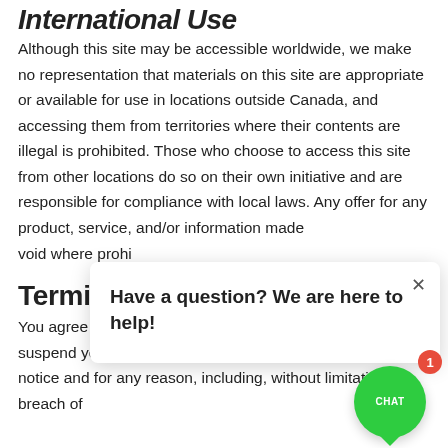International Use
Although this site may be accessible worldwide, we make no representation that materials on this site are appropriate or available for use in locations outside Canada, and accessing them from territories where their contents are illegal is prohibited. Those who choose to access this site from other locations do so on their own initiative and are responsible for compliance with local laws. Any offer for any product, service, and/or information made available on and void where prohibited.
Termination of Use
You agree that we may, in our sole discretion, terminate or suspend your access to all or part of the site with or without notice and for any reason, including, without limitation, breach of
[Figure (other): Chat popup overlay with close button and text 'Have a question? We are here to help!']
[Figure (other): Green chat button with 'CHAT' label and red badge showing '1']